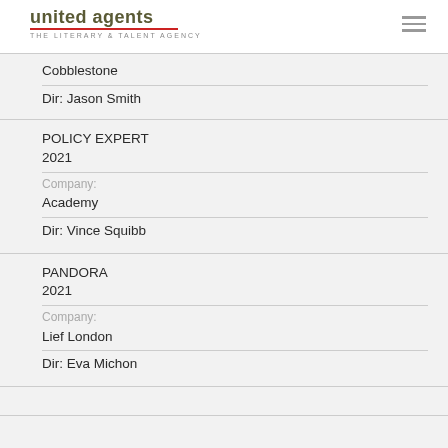united agents THE LITERARY & TALENT AGENCY
Cobblestone
Dir: Jason Smith
POLICY EXPERT
2021
Company:
Academy
Dir: Vince Squibb
PANDORA
2021
Company:
Lief London
Dir: Eva Michon